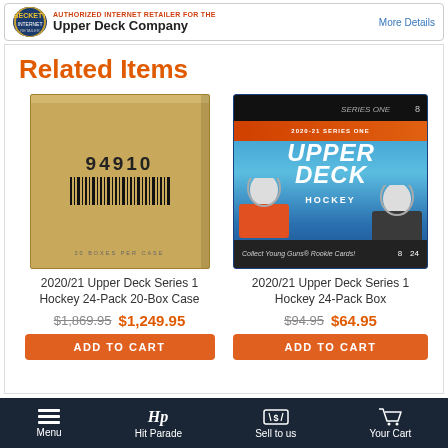[Figure (screenshot): Top banner: Upper Deck Company authorized internet retailer banner with logo and More Details link]
Related Items
[Figure (photo): Cardboard shipping box with barcode 94910 for 2020/21 Upper Deck Series 1 Hockey 24-Pack 20-Box Case]
2020/21 Upper Deck Series 1 Hockey 24-Pack 20-Box Case
$1,869.95  $1,249.95
[Figure (photo): 2020/21 Upper Deck Series 1 Hockey 24-Pack Box product box with hockey player artwork]
2020/21 Upper Deck Series 1 Hockey 24-Pack Box
$94.95  $64.95
Menu  Hit Parade  Sell to us  Your Cart